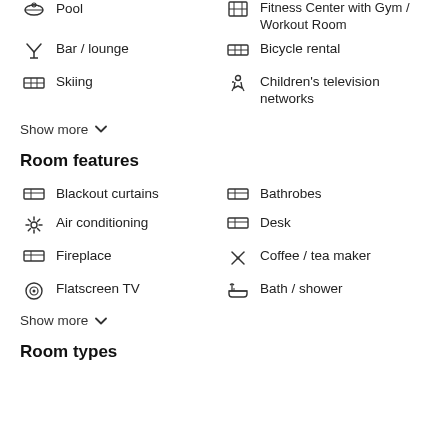Pool
Fitness Center with Gym / Workout Room
Bar / lounge
Bicycle rental
Skiing
Children's television networks
Show more
Room features
Blackout curtains
Bathrobes
Air conditioning
Desk
Fireplace
Coffee / tea maker
Flatscreen TV
Bath / shower
Show more
Room types